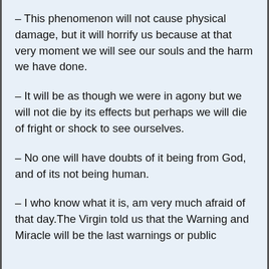– This phenomenon will not cause physical damage, but it will horrify us because at that very moment we will see our souls and the harm we have done.
– It will be as though we were in agony but we will not die by its effects but perhaps we will die of fright or shock to see ourselves.
– No one will have doubts of it being from God, and of its not being human.
– I who know what it is, am very much afraid of that day.The Virgin told us that the Warning and Miracle will be the last warnings or public